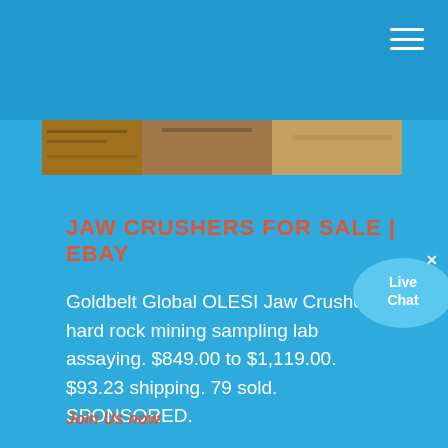[Figure (photo): Horizontal photo strip showing mining/industrial scenes with rock and earthen landscapes]
JAW CRUSHERS FOR SALE | EBAY
Goldbelt Global OLESI Jaw Crusher hard rock mining sampling lab assaying. $849.00 to $1,119.00. $93.23 shipping. 79 sold. SPONSORED.
[Figure (illustration): Live Chat speech bubble icon with text 'Live Chat']
Join Us now